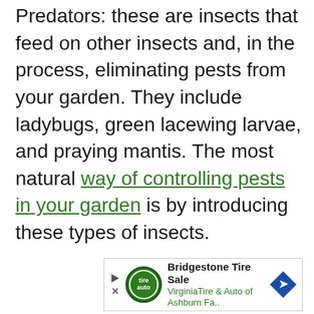Predators: these are insects that feed on other insects and, in the process, eliminating pests from your garden. They include ladybugs, green lacewing larvae, and praying mantis. The most natural way of controlling pests in your garden is by introducing these types of insects.
[Figure (other): Advertisement banner for Bridgestone Tire Sale at Virginia Tire & Auto of Ashburn Fa., with logo, play/close icons, and a blue diamond-shaped navigation arrow.]